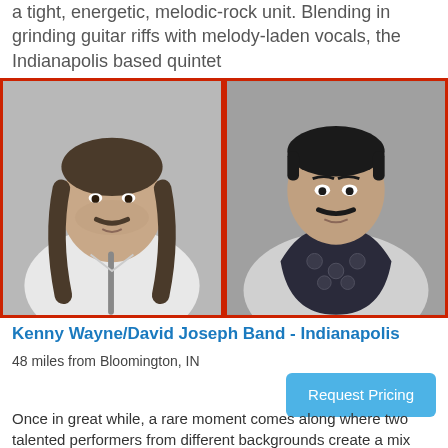a tight, energetic, melodic-rock unit. Blending in grinding guitar riffs with melody-laden vocals, the Indianapolis based quintet
[Figure (photo): Two black-and-white portrait photos side by side of two male musicians, each framed with a red border. Left photo shows a man with long hair in a white shirt holding what appears to be a microphone stand. Right photo shows a man with dark hair wearing a patterned vest.]
Kenny Wayne/David Joseph Band - Indianapolis
48 miles from Bloomington, IN
Request Pricing
Once in great while, a rare moment comes along where two talented performers from different backgrounds create a mix that is so right! Thus is the case with the Kenny Wayne & David